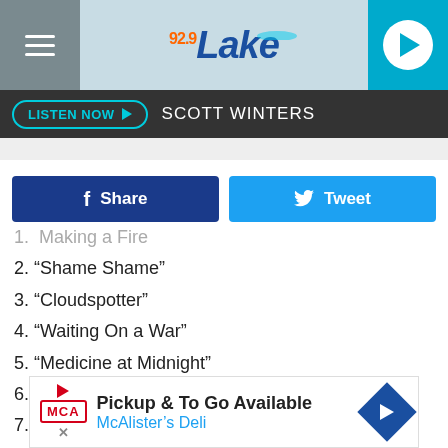[Figure (screenshot): Radio station header with 92.9 The Lake logo, hamburger menu, and play button]
LISTEN NOW  SCOTT WINTERS
[Figure (infographic): Facebook Share and Twitter Tweet buttons]
1.  Making a Fire
2. “Shame Shame”
3. “Cloudspotter”
4. “Waiting On a War”
5. “Medicine at Midnight”
6. “No Son of Mine”
7. “Holding Poison”
8. “Chasing Birds”
9. “Love Dies Young”
[Figure (other): Ad banner: Pickup & To Go Available - McAlister's Deli]